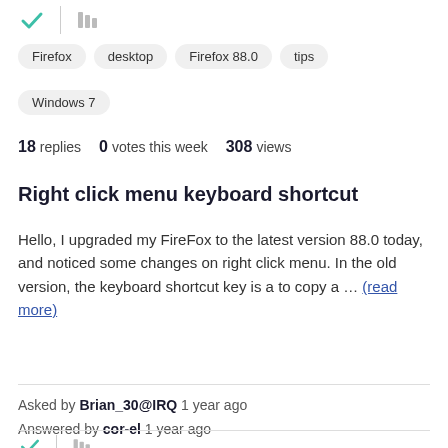[Figure (other): Teal checkmark icon and stack/library icon at top]
Firefox
desktop
Firefox 88.0
tips
Windows 7
18 replies   0 votes this week   308 views
Right click menu keyboard shortcut
Hello, I upgraded my FireFox to the latest version 88.0 today, and noticed some changes on right click menu. In the old version, the keyboard shortcut key is a to copy a ... (read more)
Asked by Brian_30@IRQ 1 year ago
Answered by cor-el 1 year ago
[Figure (other): Teal checkmark icon and stack/library icon at bottom]